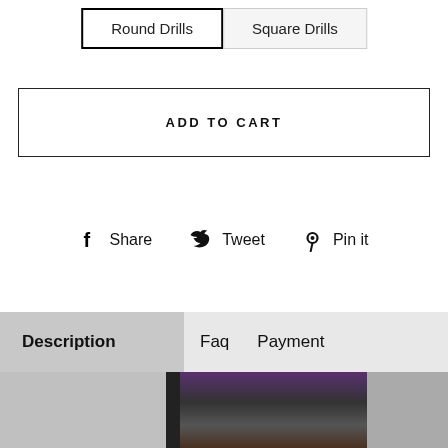Round Drills | Square Drills
ADD TO CART
Share  Tweet  Pin it
Description  Faq  Payment
[Figure (photo): A framed diamond painting of a cat with glowing eyes, partially visible, on a light gray wall background.]